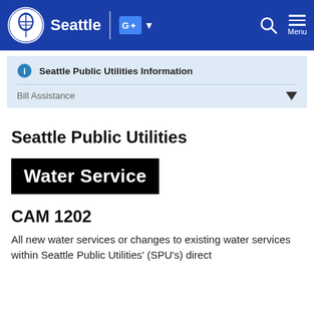Seattle | [translate icon] v [search] Menu
Seattle Public Utilities Information
Bill Assistance
Seattle Public Utilities
[Figure (other): Black banner with white bold text reading 'Water Service']
CAM 1202
All new water services or changes to existing water services within Seattle Public Utilities' (SPU's) direct